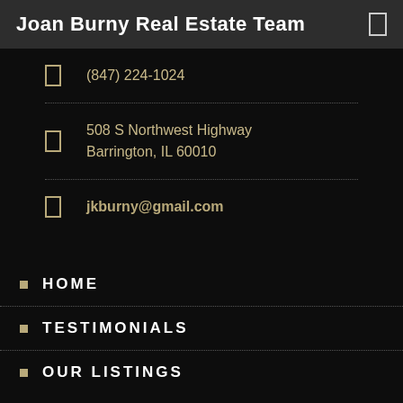Joan Burny Real Estate Team
(847) 224-1024
508 S Northwest Highway
Barrington, IL 60010
jkburny@gmail.com
HOME
TESTIMONIALS
OUR LISTINGS